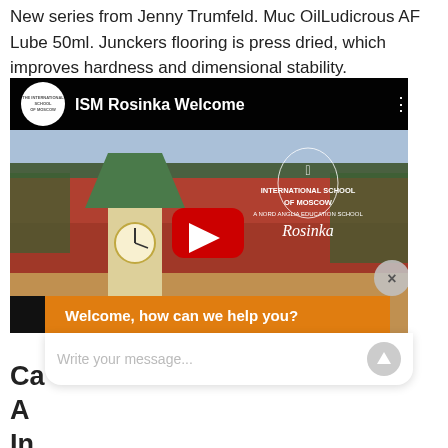New series from Jenny Trumfeld. Muc OilLudicrous AF Lube 50ml. Junckers flooring is press dried, which improves hardness and dimensional stability.
[Figure (screenshot): YouTube video embed titled 'ISM Rosinka Welcome' showing an aerial view of the International School of Moscow at Rosinka campus with a clock tower and red-roofed buildings. A red YouTube play button is centered on the thumbnail. A chat widget overlay reads 'Welcome, how can we help you?' with a message input field.]
Ca
A 
In
Media Argue